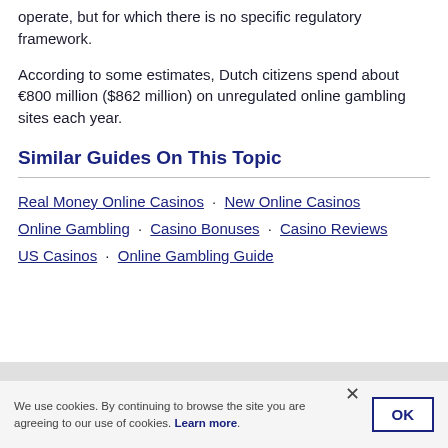operate, but for which there is no specific regulatory framework.
According to some estimates, Dutch citizens spend about €800 million ($862 million) on unregulated online gambling sites each year.
Similar Guides On This Topic
Real Money Online Casinos · New Online Casinos Online Gambling · Casino Bonuses · Casino Reviews US Casinos · Online Gambling Guide
We use cookies. By continuing to browse the site you are agreeing to our use of cookies. Learn more.